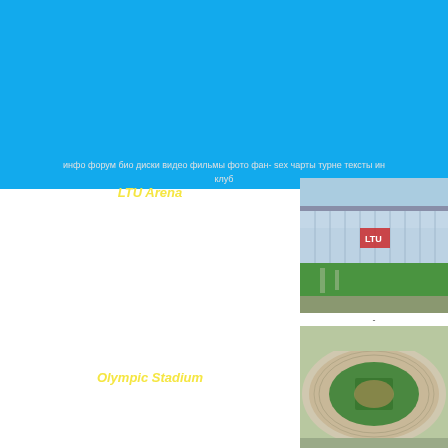[Figure (illustration): Blue header background area]
инфо форум био диски видео фильмы фото фан- sex чарты турне тексты ин клуб
LTU Arena
[Figure (photo): Aerial view of LTU Arena stadium with glass facade and green grass surroundings]
-
Olympic Stadium
[Figure (photo): Aerial view of Olympic Stadium with oval shape, green field and surrounding seating]